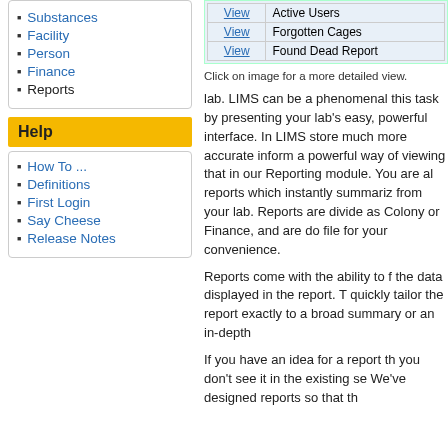Substances
Facility
Person
Finance
Reports
Help
How To ...
Definitions
First Login
Say Cheese
Release Notes
|  |  |
| --- | --- |
| View | Active Users |
| View | Forgotten Cages |
| View | Found Dead Report |
Click on image for a more detailed view.
lab. LIMS can be a phenomenal this task by presenting your lab's easy, powerful interface. In LIMS store much more accurate inform a powerful way of viewing that in our Reporting module. You are al reports which instantly summariz from your lab. Reports are divide as Colony or Finance, and are d file for your convenience.
Reports come with the ability to f the data displayed in the report. quickly tailor the report exactly to a broad summary or an in-depth
If you have an idea for a report th you don't see it in the existing se We've designed reports so that th